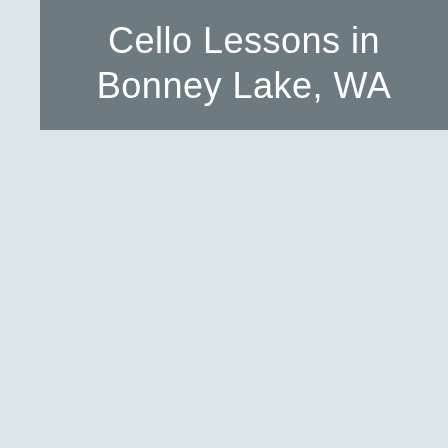Cello Lessons in Bonney Lake, WA
Get in Touch and Start Learning!
First Name*